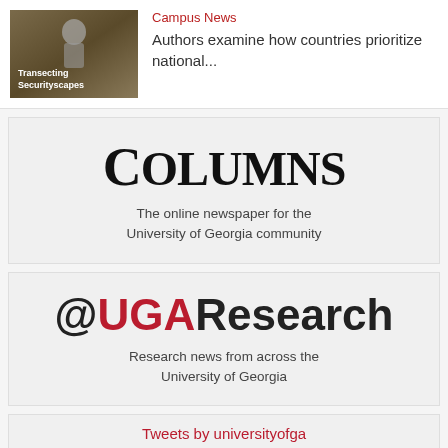[Figure (photo): Book cover for 'Transecting Securityscapes' with a person in military gear]
Campus News
Authors examine how countries prioritize national...
[Figure (logo): Columns newspaper logo - The online newspaper for the University of Georgia community]
The online newspaper for the University of Georgia community
[Figure (logo): @UGAResearch logo - Research news from across the University of Georgia]
Research news from across the University of Georgia
Tweets by universityofga